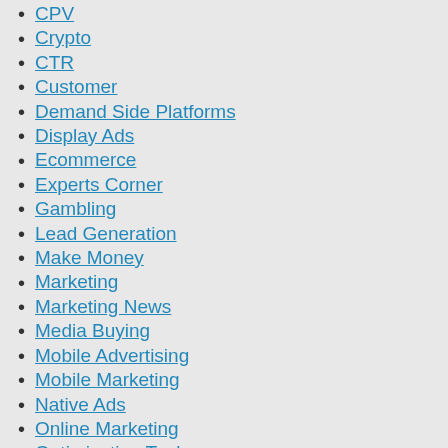CPV
Crypto
CTR
Customer
Demand Side Platforms
Display Ads
Ecommerce
Experts Corner
Gambling
Lead Generation
Make Money
Marketing
Marketing News
Media Buying
Mobile Advertising
Mobile Marketing
Native Ads
Online Marketing
Optimization Tools
Other
Performance Advertising Network